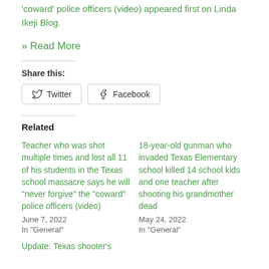'coward' police officers (video) appeared first on Linda Ikeji Blog.
» Read More
Share this:
Twitter  Facebook
Related
Teacher who was shot multiple times and lost all 11 of his students in the Texas school massacre says he will "never forgive" the "coward" police officers (video)
June 7, 2022
In "General"
18-year-old gunman who invaded Texas Elementary school killed 14 school kids and one teacher after shooting his grandmother dead
May 24, 2022
In "General"
Update: Texas shooter's